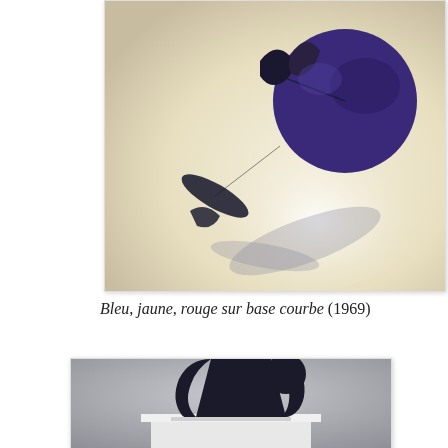[Figure (photo): Close-up photograph of an abstract sculpture named 'Bleu, jaune, rouge sur base courbe' showing dark blue/purple metal shapes against a light background with shadows]
Bleu, jaune, rouge sur base courbe (1969)
[Figure (photo): Photograph of a dark navy/black abstract metal sculpture with organic biomorphic shape on a white pedestal against a grey background]